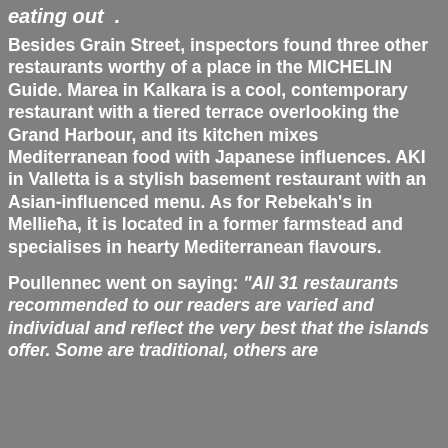eating out .
Besides Grain Street, inspectors found three other restaurants worthy of a place in the MICHELIN Guide. Marea in Kalkara is a cool, contemporary restaurant with a tiered terrace overlooking the Grand Harbour, and its kitchen mixes Mediterranean food with Japanese influences. AKI in Valletta is a stylish basement restaurant with an Asian-influenced menu. As for Rebekah's in Mellieħa, it is located in a former farmstead and specialises in hearty Mediterranean flavours.
Poullennec went on saying: "All 31 restaurants recommended to our readers are varied and individual and reflect the very best that the islands offer. Some are traditional, others are..."